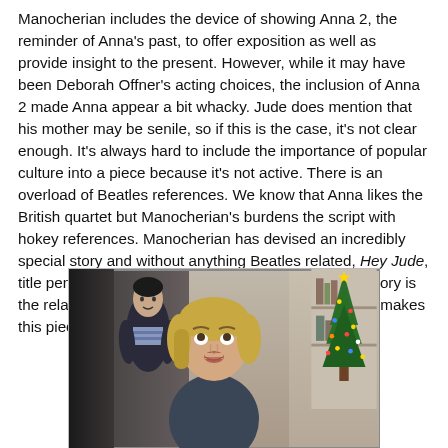Manocherian includes the device of showing Anna 2, the reminder of Anna's past, to offer exposition as well as provide insight to the present. However, while it may have been Deborah Offner's acting choices, the inclusion of Anna 2 made Anna appear a bit whacky. Jude does mention that his mother may be senile, so if this is the case, it's not clear enough. It's always hard to include the importance of popular culture into a piece because it's not active. There is an overload of Beatles references. We know that Anna likes the British quartet but Manocherian's burdens the script with hokey references. Manocherian has devised an incredibly special story and without anything Beatles related, Hey Jude, title pending, would have thrived. The beauty of this story is the relationships between the characters. That's what makes this piece significant.
[Figure (photo): Theatre production photo showing a woman with blonde hair in the foreground looking upward with an expressive face, and a man in a striped shirt standing behind her. A decorated Christmas tree is visible on the right side of the frame. The setting appears to be a domestic interior.]